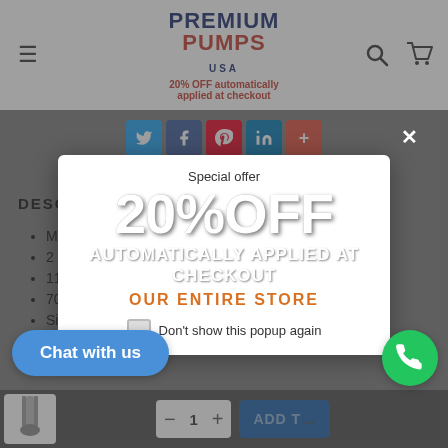Premium Pumps USA — 20% OFF automatically applied at checkout
DESCRIPTION
Model 4C1005
2 HP
117Ft Max
70 GPM Max
Single Phase
230 Volt
[Figure (screenshot): Popup modal overlay with special offer: 20% OFF automatically applied at checkout OUR ENTIRE STORE, with checkbox Don't show this popup again and close button]
Special offer
20% OFF
AUTOMATICALLY APPLIED AT CHECKOUT
OUR ENTIRE STORE
Don't show this popup again
Chat with us
1
ADD T...